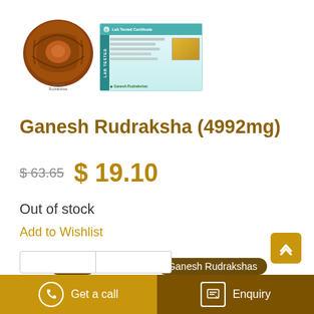[Figure (photo): Product images: a brown Rudraksha seed on the left and a lab-tested certificate card on the right]
Ganesh Rudraksha (4992mg)
$63.65  $ 19.10
Out of stock
Add to Wishlist
SKU: R085.   Category: Ganesh Rudrakshas
Get a call   Enquiry